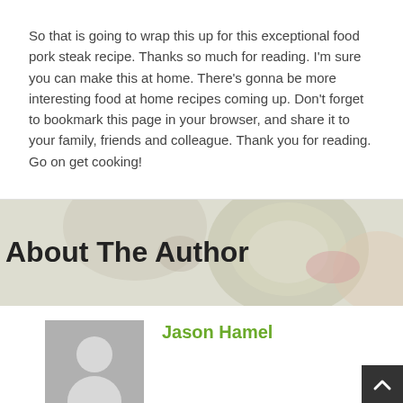So that is going to wrap this up for this exceptional food pork steak recipe. Thanks so much for reading. I'm sure you can make this at home. There's gonna be more interesting food at home recipes coming up. Don't forget to bookmark this page in your browser, and share it to your family, friends and colleague. Thank you for reading. Go on get cooking!
About The Author
Jason Hamel
[Figure (photo): Default user avatar placeholder - grey silhouette of a person on grey background]